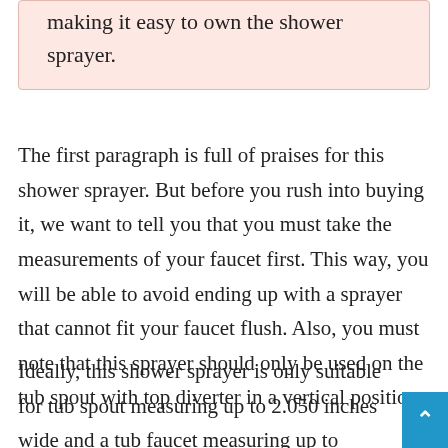making it easy to own the shower sprayer.
The first paragraph is full of praises for this shower sprayer. But before you rush into buying it, we want to tell you that you must take the measurements of your faucet first. This way, you will be able to avoid ending up with a sprayer that cannot fit your faucet flush. Also, you must note that this sprayer should only be used on the tub spout with top diverter in a vertical position.
Ideally, this shower sprayer is only suitable for tub spout measuring up to 2.050 inches wide and a tub faucet measuring up to 3.150 inches. Only